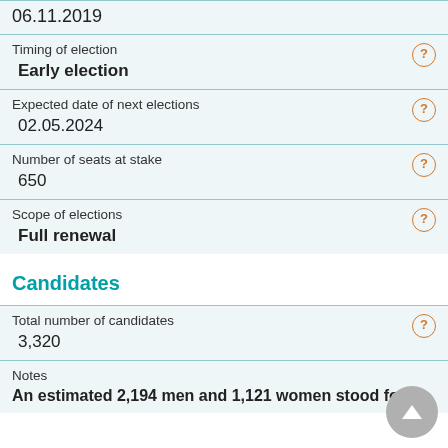06.11.2019
Timing of election
Early election
Expected date of next elections
02.05.2024
Number of seats at stake
650
Scope of elections
Full renewal
Candidates
Total number of candidates
3,320
Notes
An estimated 2,194 men and 1,121 women stood for